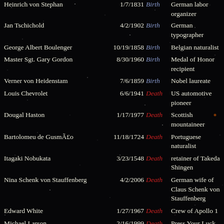Heinrich von Stephan | 1/7/1831 | Birth | German labor organizer
Jan Tschichold | 4/2/1902 | Birth | German typographer
George Albert Boulenger | 10/19/1858 | Birth | Belgian naturalist
Master Sgt. Gary Gordon | 8/30/1960 | Birth | Medal of Honor recipient
Verner von Heidenstam | 7/6/1859 | Birth | Nobel laureate
Louis Chevrolet | 6/6/1941 | Death | US automotive pioneer
Dougal Haston | 1/17/1977 | Death | Scottish mountaineer
Bartolomeu de Gusmão | 11/18/1724 | Death | Portuguese naturalist
Itagaki Nobukata | 3/23/1548 | Death | retainer of Takeda Shingen
Nina Schenk von Stauffenberg | 4/2/2006 | Death | German wife of Claus Schenk von Stauffenberg
Edward White | 1/27/1967 | Death | Crew of Apollo 1
Michael Larson | 2/16/1999 | Death | Press Your Luck Big-winning